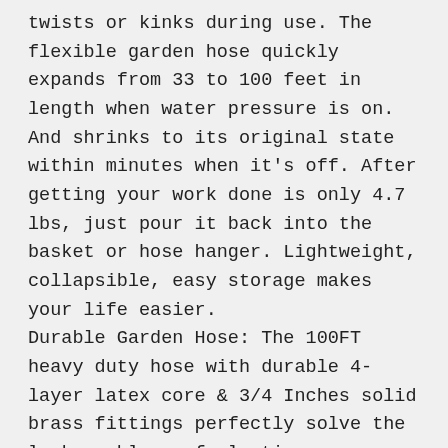twists or kinks during use. The flexible garden hose quickly expands from 33 to 100 feet in length when water pressure is on. And shrinks to its original state within minutes when it's off. After getting your work done is only 4.7 lbs, just pour it back into the basket or hose hanger. Lightweight, collapsible, easy storage makes your life easier. Durable Garden Hose: The 100FT heavy duty hose with durable 4-layer latex core & 3/4 Inches solid brass fittings perfectly solve the leak problems of plastic connectors. Good quality brass connectors and switch valves, which give excellent no rusting. The brass shut-off valve is easy for you to shut off the water without turning off the tap, makes the garden hose easier to use. This garden hose design for long-term use. Good Watering in1 Set: We have included in our set: Garden Hose 100ft, 9 Functions Spray Nozzle